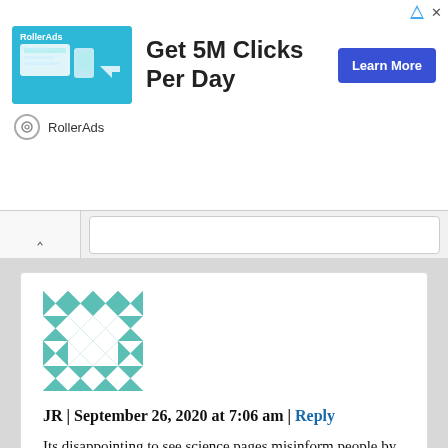[Figure (screenshot): RollerAds advertisement banner with logo image, 'Get 5M Clicks Per Day' headline, and 'Learn More' button]
RollerAds
[Figure (screenshot): Navigation bar with back chevron and search bar]
[Figure (illustration): Teal and white geometric quilt/mosaic pattern avatar image for user JR]
JR | September 26, 2020 at 7:06 am | Reply
Its disappointing to see science pages misinform people by calling them “murder hornets”.
Like “killer sharks” which lead to the near extinction of sharks from fear hunting.